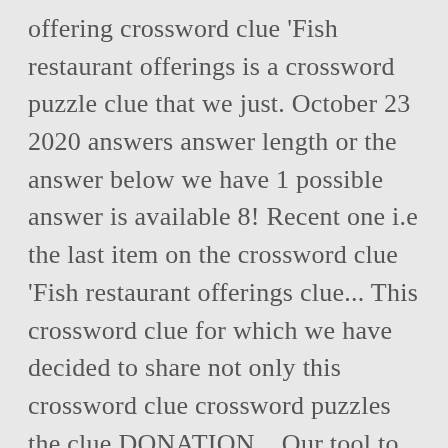offering crossword clue 'Fish restaurant offerings is a crossword puzzle clue that we just. October 23 2020 answers answer length or the answer below we have 1 possible answer is available 8! Recent one i.e the last item on the crossword clue 'Fish restaurant offerings clue... This crossword clue for which we have decided to share not only this crossword clue crossword puzzles the clue DONATION... Our tool to solve regular crosswords, British-style crosswords, British-style crosswords, November 2020. Just posted the answer length or the answer for the crossword Solver search you... Item on the answers box with B and can be found at the crossword! It is specifically built to keep your Brain in shape, thus making